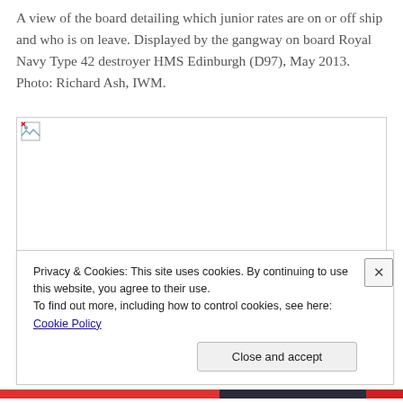A view of the board detailing which junior rates are on or off ship and who is on leave. Displayed by the gangway on board Royal Navy Type 42 destroyer HMS Edinburgh (D97), May 2013. Photo: Richard Ash, IWM.
[Figure (photo): A broken/unloaded image placeholder representing a photograph displayed by the gangway on board Royal Navy Type 42 destroyer HMS Edinburgh (D97), May 2013.]
Privacy & Cookies: This site uses cookies. By continuing to use this website, you agree to their use.
To find out more, including how to control cookies, see here: Cookie Policy
Close and accept